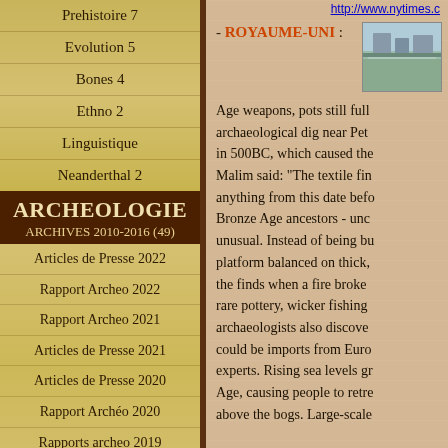Prehistoire 7
Evolution 5
Bones 4
Ethno 2
Linguistique
Neanderthal 2
ARCHEOLOGIE
ARCHIVES 2010-2016 (49)
Articles de Presse 2022
Rapport Archeo 2022
Rapport Archeo 2021
Articles de Presse 2021
Articles de Presse 2020
Rapport Archéo 2020
Rapports archeo 2019
Rapports Archeo 2018
http://www.nytimes.c...
- ROYAUME-UNI :
[Figure (photo): Landscape photo showing what appears to be a coastal or wetland area with structures in background]
Age weapons, pots still full... archaeological dig near Pet... in 500BC, which caused the... Malim said: "The textile fin... anything from this date befo... Bronze Age ancestors - unc... unusual. Instead of being bu... platform balanced on thick,... the finds when a fire broke... rare pottery, wicker fishing... archaeologists also discove... could be imports from Euro... experts. Rising sea levels gr... Age, causing people to retre... above the bogs. Large-scale...